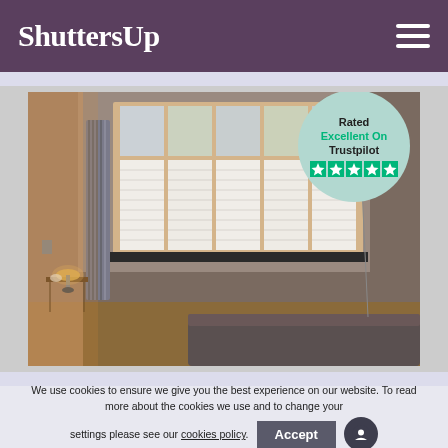ShuttersUp
[Figure (photo): Interior room photo showing white plantation shutters installed on a large bay window. The room has grey/taupe walls, a vertical radiator on the left, a small side table with a lamp, and a sofa in the foreground. An arc floor lamp is on the right side. Overlaid with a Trustpilot badge reading 'Rated Excellent On Trustpilot' with five green stars.]
We use cookies to ensure we give you the best experience on our website. To read more about the cookies we use and to change your settings please see our cookies policy.